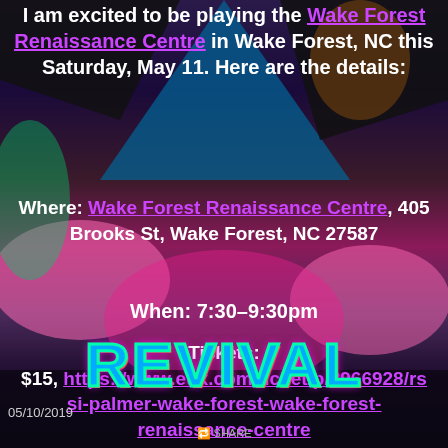[Figure (photo): Colorful event promotional image with a woman in ornate costume standing in front of a vibrant floral and abstract background. Large 'REVIVAL' text at the bottom in teal/blue with colorful outline.]
I am excited to be playing the Wake Forest Renaissance Centre in Wake Forest, NC this Saturday, May 11. Here are the details:
Where: Wake Forest Renaissance Centre, 405 Brooks St, Wake Forest, NC 27587
When: 7:30-9:30pm
Tickets:
$15, https://www.etix.com/ticket/p/8966928/rssi-palmer-wake-forest-wake-forest-renaissance-centre
05/10/2019